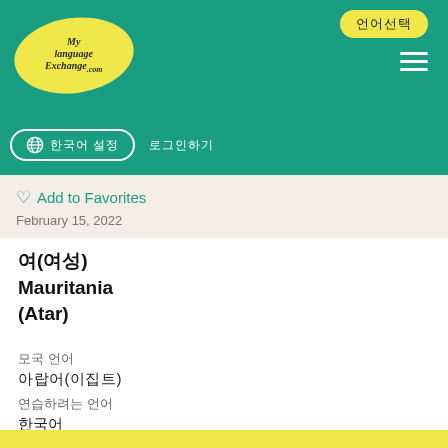[Figure (logo): MyLanguageExchange.com logo in yellow oval on teal header background]
언어 교환 (header navigation with globe icon, language buttons, hamburger menu)
♡ Add to Favorites
February 15, 2022
여(여성)
Mauritania
(Atar)
모국 언어
아랍어(이집트)
연습하려는 언어
한국어
소개
I'm Arabic girl my name is mariem and I love Korean language and I wish to learn it fast 🥰
♥